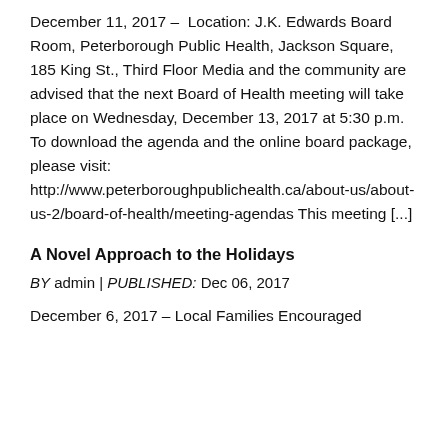December 11, 2017 – Location: J.K. Edwards Board Room, Peterborough Public Health, Jackson Square, 185 King St., Third Floor Media and the community are advised that the next Board of Health meeting will take place on Wednesday, December 13, 2017 at 5:30 p.m. To download the agenda and the online board package, please visit: http://www.peterboroughpublichealth.ca/about-us/about-us-2/board-of-health/meeting-agendas This meeting [...]
A Novel Approach to the Holidays
BY admin | PUBLISHED: Dec 06, 2017
December 6, 2017 – Local Families Encouraged